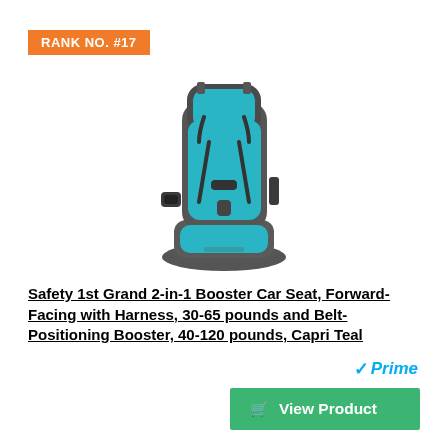RANK NO. #17
[Figure (photo): Safety 1st Grand 2-in-1 Booster Car Seat in Capri Teal color — a dark gray child car seat with teal/turquoise fabric padding, forward-facing harness, and adjustable headrest]
Safety 1st Grand 2-in-1 Booster Car Seat, Forward-Facing with Harness, 30-65 pounds and Belt-Positioning Booster, 40-120 pounds, Capri Teal
Prime
View Product